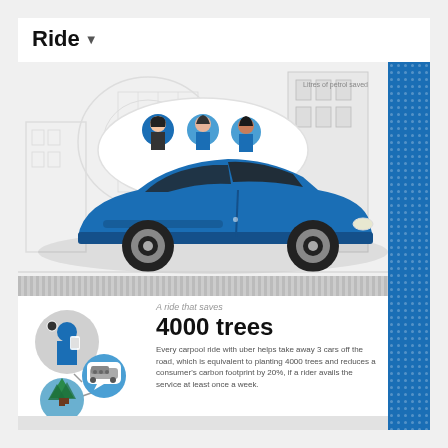Ride
[Figure (illustration): Infographic illustration of a blue car with three passengers visible above it (carpool scene), set against a cityscape background with geometric outlines. Top right area has a blue dotted/patterned sidebar. A small text label partially visible reads 'Litres of petrol saved'.]
[Figure (infographic): Three connected circular icons: a person using a phone, a speech bubble with car icon inside, and a nature/trees scene. Connected by lines suggesting a carpool network diagram.]
A ride that saves
4000 trees
Every carpool ride with uber helps take away 3 cars off the road, which is equivalent to planting 4000 trees and reduces a consumer's carbon footprint by 20%, if a rider avails the service at least once a week.